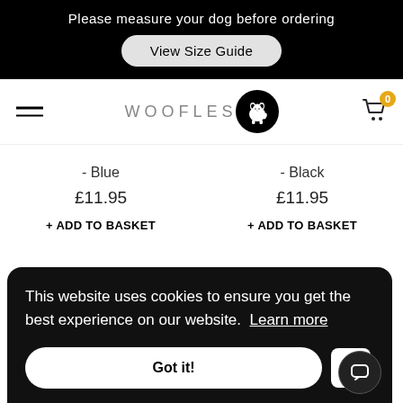Please measure your dog before ordering
View Size Guide
[Figure (screenshot): WOOFLES brand logo with dog icon in black circle]
- Blue
£11.95
+ ADD TO BASKET
- Black
£11.95
+ ADD TO BASKET
This website uses cookies to ensure you get the best experience on our website. Learn more
Got it!